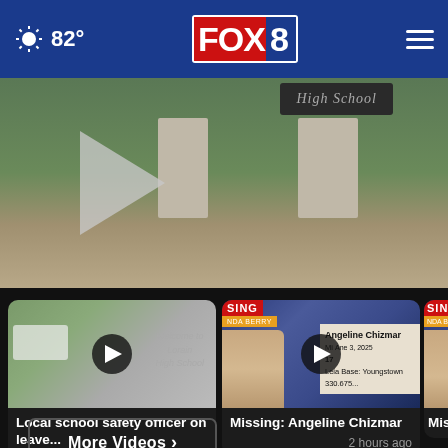FOX 8 - 82°
[Figure (screenshot): Hero video thumbnail showing a school sign reading High School with a large play button overlay]
[Figure (screenshot): Video card 1: Local school safety officer on leave... - 1 hour ago]
Local school safety officer on leave...
1 hour ago
[Figure (screenshot): Video card 2: Missing: Angeline Chizmar - 2 hours ago]
Missing: Angeline Chizmar
2 hours ago
[Figure (screenshot): Video card 3: Missing (partially visible)]
Missin
More Videos ›